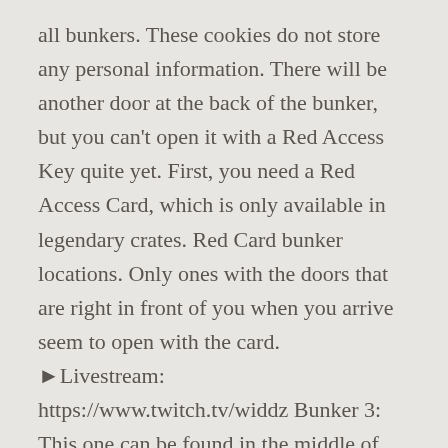all bunkers. These cookies do not store any personal information. There will be another door at the back of the bunker, but you can't open it with a Red Access Key quite yet. First, you need a Red Access Card, which is only available in legendary crates. Red Card bunker locations. Only ones with the doors that are right in front of you when you arrive seem to open with the card. ▶Livestream: https://www.twitch.tv/widdz Bunker 3: This one can be found in the middle of the military base and dam in Bloc 23. Interacting with that will trigger the horizontal yellow bars to unlock, and the door will open. Then look for the keypad to the right of the door. Bunker 3: Located to the east of Bloc 15. Whe...